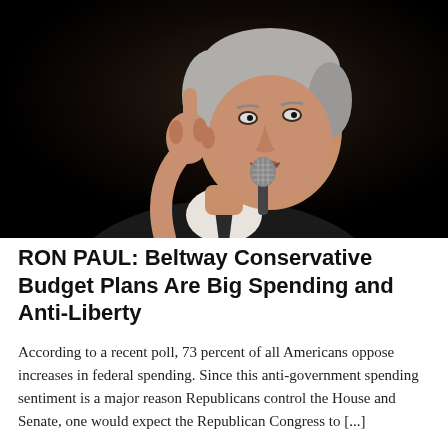[Figure (photo): An older man with gray hair speaking at a microphone, pointing one finger upward, wearing a dark suit, against a dark background.]
RON PAUL: Beltway Conservative Budget Plans Are Big Spending and Anti-Liberty
According to a recent poll, 73 percent of all Americans oppose increases in federal spending. Since this anti-government spending sentiment is a major reason Republicans control the House and Senate, one would expect the Republican Congress to [...]